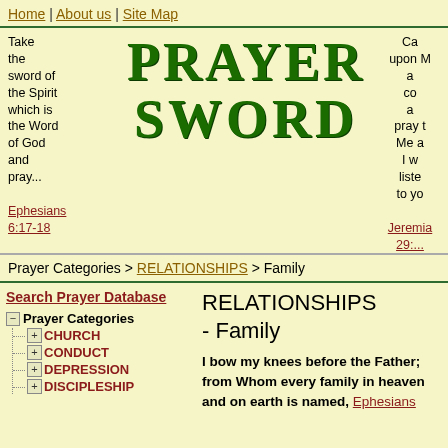Home | About us | Site Map
[Figure (logo): Prayer Sword website logo in large green serif text]
Take the sword of the Spirit which is the Word of God and pray... Ephesians 6:17-18
Ca... upon M... a... co... a... pray t... Me a... I w... liste... to yo... Jeremia... 29:...
Prayer Categories > RELATIONSHIPS > Family
Search Prayer Database
Prayer Categories > CHURCH
Prayer Categories > CONDUCT
Prayer Categories > DEPRESSION
Prayer Categories > DISCIPLESHIP
RELATIONSHIPS - Family
I bow my knees before the Father; from Whom every family in heaven and on earth is named, Ephesians...